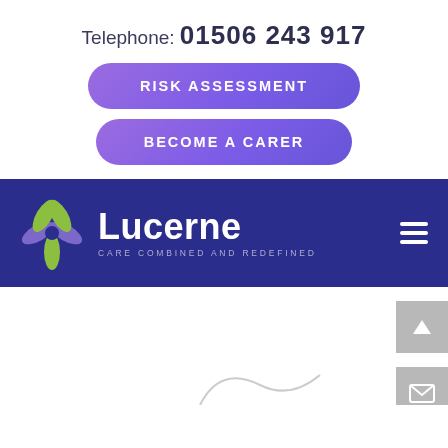Telephone: 01506 243 917
RISK ASSESSMENT
BECOME A CARER
[Figure (logo): Lucerne Care Combined and Redefined logo with a stylized flower in purple and green on a dark navy background, with hamburger menu icon]
[Figure (illustration): Partial view of an illustration at the bottom of the page, with scroll-to-top and email contact buttons on the right side]